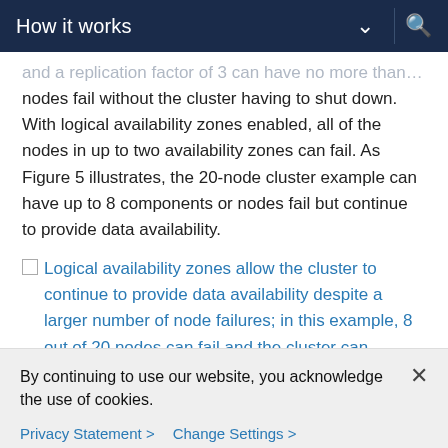How it works
and a replication factor of 3 can have no more than two nodes fail without the cluster having to shut down. With logical availability zones enabled, all of the nodes in up to two availability zones can fail. As Figure 5 illustrates, the 20-node cluster example can have up to 8 components or nodes fail but continue to provide data availability.
[Figure (illustration): Inline image placeholder followed by link text: Logical availability zones allow the cluster to continue to provide data availability despite a larger number of node failures; in this example, 8 out of 20 nodes can fail and the cluster can continue to operate]
Figure 5. Logical availability zones allow the cluster to continue to
By continuing to use our website, you acknowledge the use of cookies.
Privacy Statement > Change Settings >